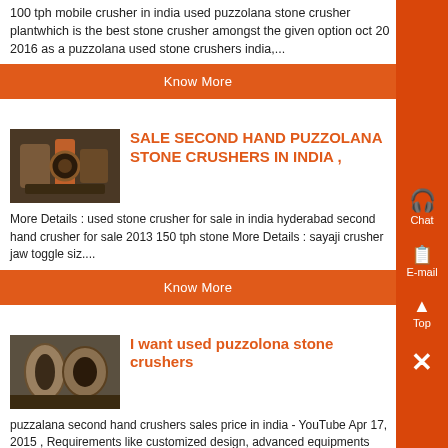100 tph mobile crusher in india used puzzolana stone crusher plantwhich is the best stone crusher amongst the given option oct 20 2016 as a puzzolana used stone crushers india,...
Know More
[Figure (photo): Industrial stone crusher machinery, dark reddish-brown metal equipment]
SALE SECOND HAND PUZZOLANA STONE CRUSHERS IN INDIA ,
More Details : used stone crusher for sale in india hyderabad second hand crusher for sale 2013 150 tph stone More Details : sayaji crusher jaw toggle siz....
Know More
[Figure (photo): Industrial stone crushing cylindrical metal parts/rollers]
I want used puzzolona stone crushers
puzzalana second hand crushers sales price in india - YouTube Apr 17, 2015 , Requirements like customized design, advanced equipments and faultless , hand puzzolana stone crushers in india: used crusher for sale in, More details » Get Price...
Know More